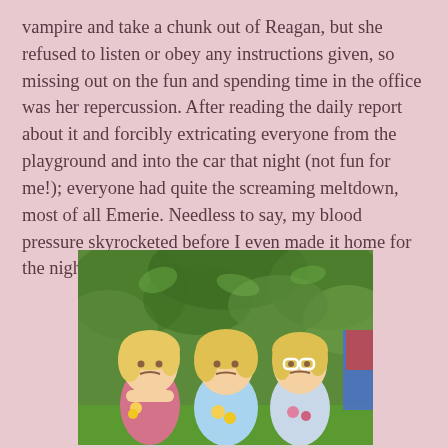vampire and take a chunk out of Reagan, but she refused to listen or obey any instructions given, so missing out on the fun and spending time in the office was her repercussion. After reading the daily report about it and forcibly extricating everyone from the playground and into the car that night (not fun for me!); everyone had quite the screaming meltdown, most of all Emerie. Needless to say, my blood pressure skyrocketed before I even made it home for the night.
[Figure (photo): Three young blonde girls sitting together outdoors in front of green leafy bushes. The girl on the left is frowning and crossing her arms, the middle girl looks unhappy, and the right girl is wearing white glasses and also looks unhappy. They are holding yellow and pink flowers. A child in blue shorts is partially visible on the far right.]